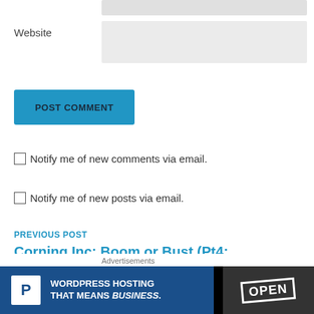Website
POST COMMENT
Notify me of new comments via email.
Notify me of new posts via email.
PREVIOUS POST
Corning Inc: Boom or Bust (Pt4: Valuation and Action)
Advertisements
[Figure (screenshot): WordPress Hosting advertisement banner with logo and OPEN sign]